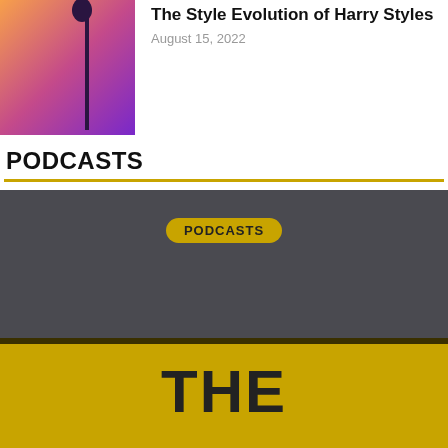[Figure (photo): Thumbnail image of a microphone silhouette against a warm orange-to-purple gradient background]
The Style Evolution of Harry Styles
August 15, 2022
PODCASTS
[Figure (illustration): Podcast card image with dark gray top half containing a gold 'PODCASTS' pill badge, and a gold/yellow bottom half with a dark stripe and large bold text reading 'THE']